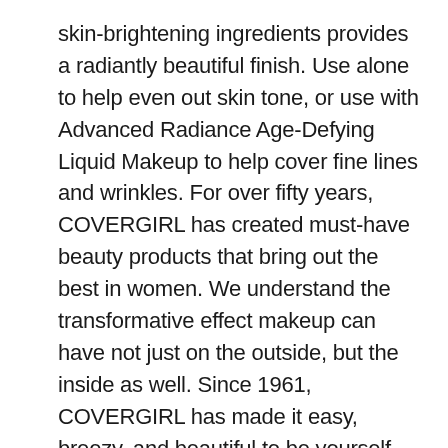skin-brightening ingredients provides a radiantly beautiful finish. Use alone to help even out skin tone, or use with Advanced Radiance Age-Defying Liquid Makeup to help cover fine lines and wrinkles. For over fifty years, COVERGIRL has created must-have beauty products that bring out the best in women. We understand the transformative effect makeup can have not just on the outside, but the inside as well. Since 1961, COVERGIRL has made it easy, breezy, and beautiful to be yourself.